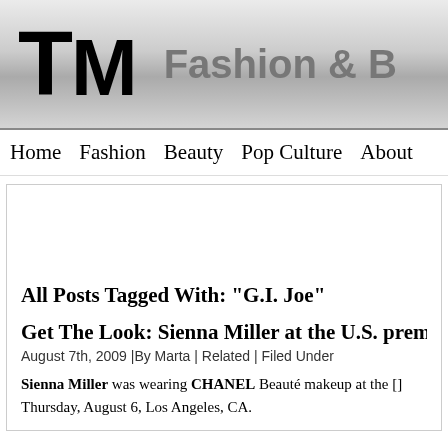TM  Fashion & B
Home  Fashion  Beauty  Pop Culture  About
All Posts Tagged With: "G.I. Joe"
Get The Look: Sienna Miller at the U.S. premi
August 7th, 2009 |By Marta | Related | Filed Under
Sienna Miller was wearing CHANEL Beauté makeup at the [premiere] Thursday, August 6, Los Angeles, CA.